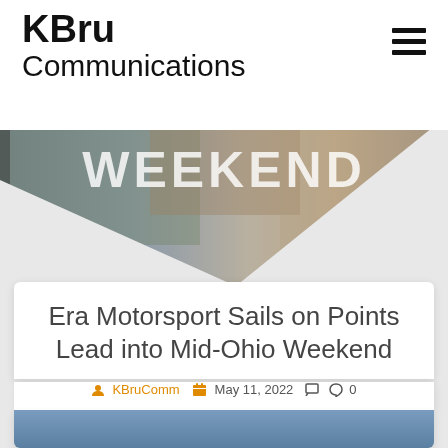KBru Communications
[Figure (photo): Hero image of a motorsport weekend event banner with a person signing, overlaid with large white text 'WEEKEND' and a diagonal white triangle cutout at the bottom]
Era Motorsport Sails on Points Lead into Mid-Ohio Weekend
KBruComm  May 11, 2022  0